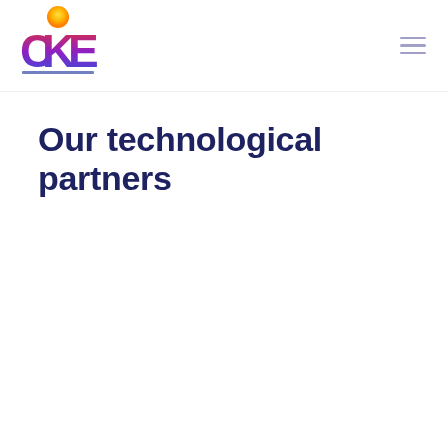[Figure (logo): CKE company logo with colorful stylized letters and a sun/globe icon above]
Our technological partners